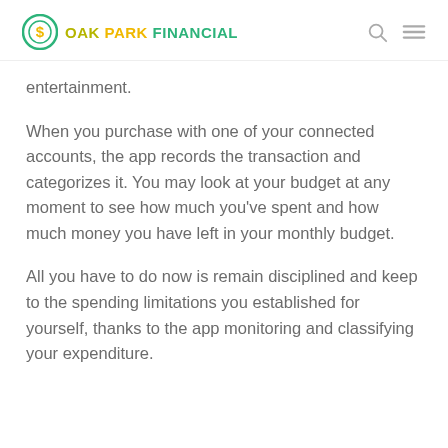OAK PARK FINANCIAL
entertainment.
When you purchase with one of your connected accounts, the app records the transaction and categorizes it. You may look at your budget at any moment to see how much you've spent and how much money you have left in your monthly budget.
All you have to do now is remain disciplined and keep to the spending limitations you established for yourself, thanks to the app monitoring and classifying your expenditure.